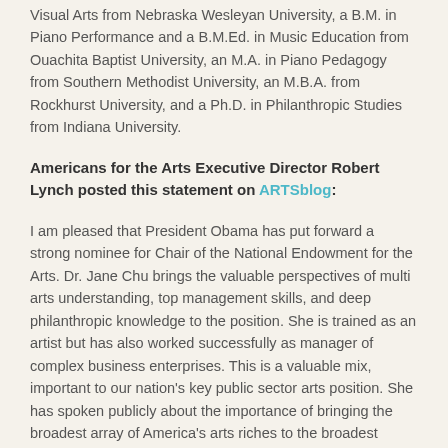Visual Arts from Nebraska Wesleyan University, a B.M. in Piano Performance and a B.M.Ed. in Music Education from Ouachita Baptist University, an M.A. in Piano Pedagogy from Southern Methodist University, an M.B.A. from Rockhurst University, and a Ph.D. in Philanthropic Studies from Indiana University.
Americans for the Arts Executive Director Robert Lynch posted this statement on ARTSblog:
I am pleased that President Obama has put forward a strong nominee for Chair of the National Endowment for the Arts. Dr. Jane Chu brings the valuable perspectives of multi arts understanding, top management skills, and deep philanthropic knowledge to the position. She is trained as an artist but has also worked successfully as manager of complex business enterprises. This is a valuable mix, important to our nation's key public sector arts position. She has spoken publicly about the importance of bringing the broadest array of America's arts riches to the broadest spectrum of the American people and has done so in her work in Kansas City. She understands the value of art at the community level and how the arts are transformative to individuals as well as places. Americans for